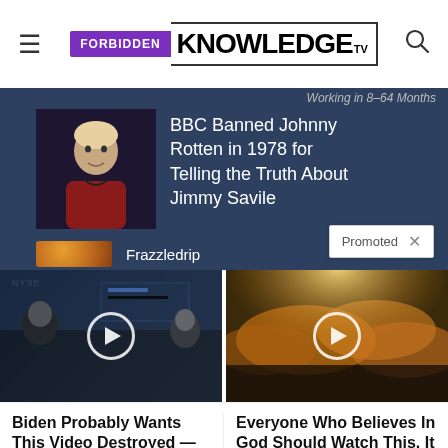Forbidden Knowledge TV
[Figure (screenshot): BBC Banned Johnny Rotten in 1978 for Telling the Truth About Jimmy Savile - article thumbnail with man in red shirt]
BBC Banned Johnny Rotten in 1978 for Telling the Truth About Jimmy Savile
Frazzledrip
Promoted ×
[Figure (screenshot): Video thumbnail showing man at NYSE stock exchange]
[Figure (screenshot): Video thumbnail showing golden clouds and sunlight]
Biden Probably Wants This Video Destroyed — Massive Currency Upheaval Has Started
Watch The Video
Everyone Who Believes In God Should Watch This. It Will Blow Your Mind
Watch The Video